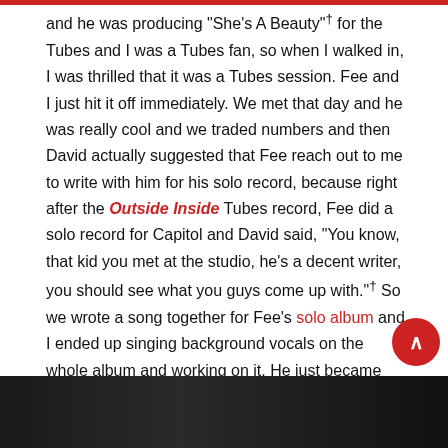and he was producing "She's A Beauty"† for the Tubes and I was a Tubes fan, so when I walked in, I was thrilled that it was a Tubes session. Fee and I just hit it off immediately. We met that day and he was really cool and we traded numbers and then David actually suggested that Fee reach out to me to write with him for his solo record, because right after the Outside Inside Tubes record, Fee did a solo record for Capitol and David said, "You know, that kid you met at the studio, he's a decent writer, you should see what you guys come up with."† So we wrote a song together for Fee's solo album and I ended up singing background vocals on the whole album and working on it. He just became my lifelong best friend — I was on the phone with him last night for an hour.
[Figure (photo): Dark photo at the bottom of the page, partially cut off, showing a person with text overlay]